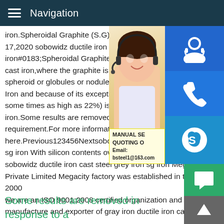Navigation
iron.Spheroidal Graphite (S.G) Iron Semin 17,2020 sobowidz ductile iron cast steel g iron#0183;Spheroidal Graphite (S.G) Iron cast iron,where the graphite is present in the form of spheroid or globules or nodules.Hence it is called Spheroidal Iron and because of its exceptionally high ductility (elongation some times as high as 22%) is also referred as Ductile iron.Some results are removed in response to a notice of local law requirement.For more information,please see here.Previous123456Nextsobowidz ductile iron cast steel grey iron sg iron With silicon contents over 3% that temperature can be sobowidz ductile iron cast steel grey iron sg iron Megacity Iron Private Limited Megacity factory was established in the year 2000 we are an ISO 9001:2008 certified organization and its a manufacture and exporter of gray iron ductile iron castings.
[Figure (photo): Woman with headset, customer service representative, with sidebar icons for customer support (headset), phone, and Skype, and a yellow info box with MANUAL SERVICE, QUOTING ON, Email: bsteel1@163.com]
Some results are removed in response to a